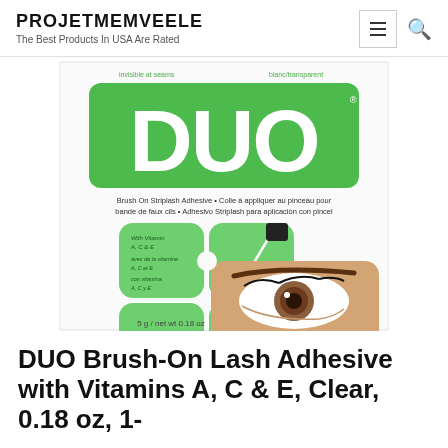PROJETMEMVEELE
The Best Products In USA Are Rated
[Figure (photo): DUO Brush On Striplash Adhesive product box with green logo, showing a woman's eye with lashes and four-leaf clover design. Text: Brush On Striplash Adhesive • Colle à appliquer au pinceau pour bande de faux cils • Adhesivo Striplash para aplicación con pincel. With Vitamin A, C & E. 5 g / net wt 0.18 oz]
DUO Brush-On Lash Adhesive with Vitamins A, C & E, Clear, 0.18 oz, 1-